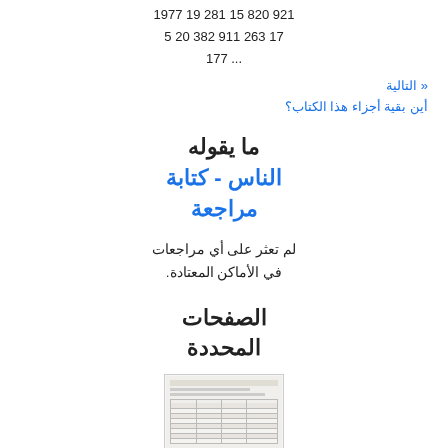1977 19 281 15 820 921
5 20 382 911 263 17
177 ...
« التالية
أين بقية أجزاء هذا الكتاب؟
ما يقوله الناس - كتابة مراجعة
لم تعثر على أي مراجعات في الأماكن المعتادة.
الصفحات المحددة
[Figure (screenshot): Thumbnail of a selected page showing a table with text content]